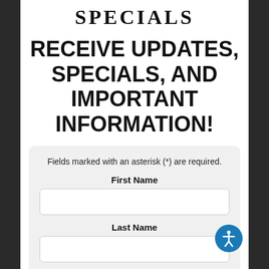SPECIALS
RECEIVE UPDATES, SPECIALS, AND IMPORTANT INFORMATION!
Fields marked with an asterisk (*) are required.
First Name
Last Name
Email *